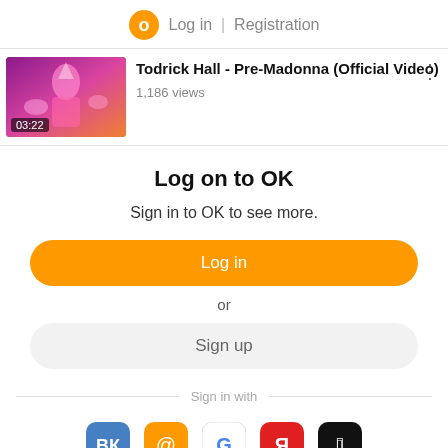Log in | Registration
[Figure (screenshot): Video thumbnail for Todrick Hall - Pre-Madonna (Official Video), duration 03:22]
Todrick Hall - Pre-Madonna (Official Video)
1,186 views
Log on to OK
Sign in to OK to see more.
Log in
or
Sign up
Sign in with
[Figure (logo): Social login icons: VK, Mail, Google, Yandex, Apple]